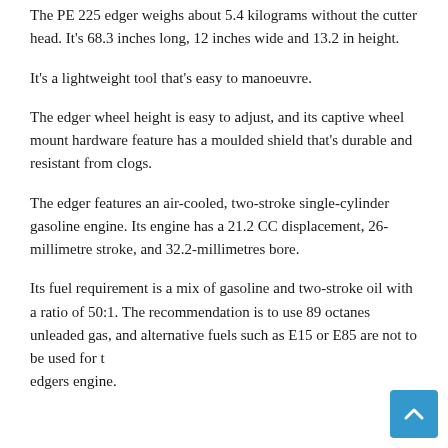The PE 225 edger weighs about 5.4 kilograms without the cutter head. It's 68.3 inches long, 12 inches wide and 13.2 in height.
It's a lightweight tool that's easy to manoeuvre.
The edger wheel height is easy to adjust, and its captive wheel mount hardware feature has a moulded shield that's durable and resistant from clogs.
The edger features an air-cooled, two-stroke single-cylinder gasoline engine. Its engine has a 21.2 CC displacement, 26-millimetre stroke, and 32.2-millimetres bore.
Its fuel requirement is a mix of gasoline and two-stroke oil with a ratio of 50:1. The recommendation is to use 89 octanes unleaded gas, and alternative fuels such as E15 or E85 are not to be used for the edgers engine.